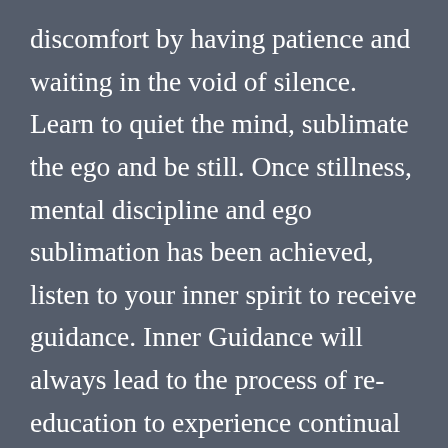discomfort by having patience and waiting in the void of silence. Learn to quiet the mind, sublimate the ego and be still. Once stillness, mental discipline and ego sublimation has been achieved, listen to your inner spirit to receive guidance. Inner Guidance will always lead to the process of re-education to experience continual consciousness expansion free of fear and dogma. The Inner Christos always guides one towards choosing more love and peace via consciousness